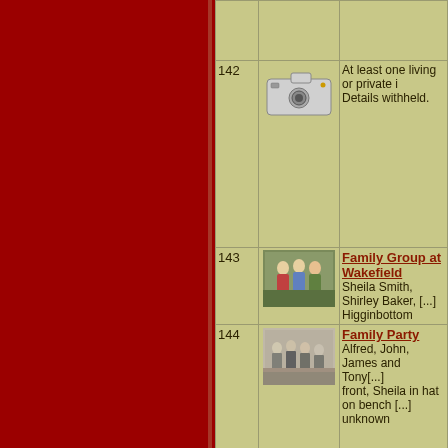| # | Image | Description |
| --- | --- | --- |
|  |  |  |
| 142 | [camera icon] | At least one living or private i
Details withheld. |
| 143 | [group photo] | Family Group at Wakefield
Sheila Smith, Shirley Baker, [...] Higginbottom |
| 144 | [party photo] | Family Party
Alfred, John, James and Tony [...] front, Sheila in hat on bench [...] unknown |